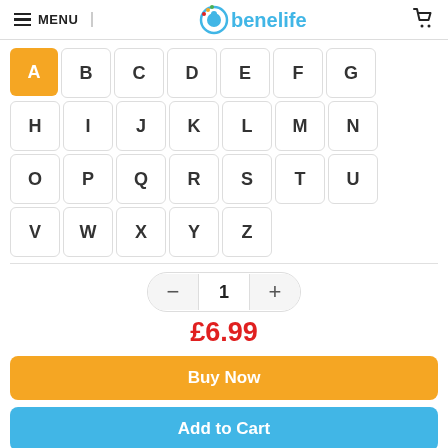MENU | benelife
[Figure (screenshot): Alphabet letter selector grid with A-Z buttons, A highlighted in orange]
1
£6.99
Buy Now
Add to Cart